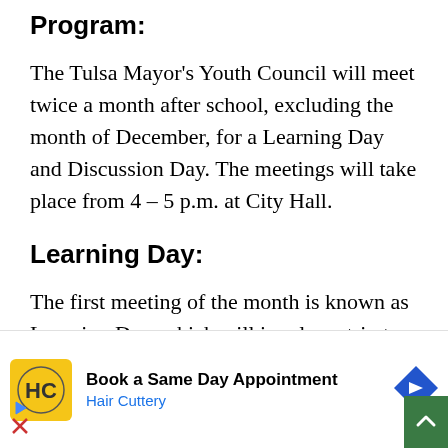Program:
The Tulsa Mayor's Youth Council will meet twice a month after school, excluding the month of December, for a Learning Day and Discussion Day. The meetings will take place from 4 – 5 p.m. at City Hall.
Learning Day:
The first meeting of the month is known as Learning Day, which will involve a trip to some of the City of Tulsa facilities and services that keep our city running. Some tours include Tulsa's energy plant, water treatment plant, or various